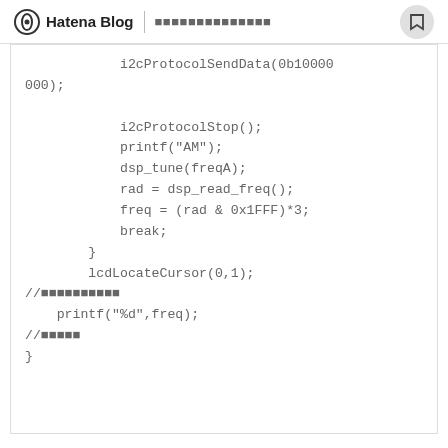Hatena Blog | [Japanese text]
i2cProtocolSendData(0b10000000);
            i2cProtocolStop();
            printf("AM");
            dsp_tune(freqA);
            rad = dsp_read_freq();
            freq = (rad & 0x1FFF)*3;
            break;
        }
        lcdLocateCursor(0,1);
//[Japanese comment]
    printf("%d",freq);
//[Japanese comment]
}